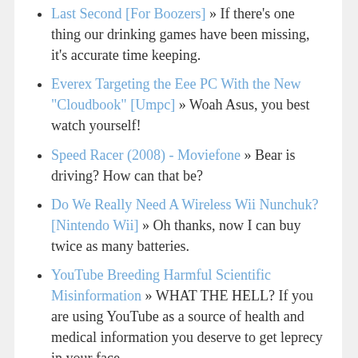Last Second [For Boozers] » If there's one thing our drinking games have been missing, it's accurate time keeping.
Everex Targeting the Eee PC With the New &quot;Cloudbook&quot; [Umpc] » Woah Asus, you best watch yourself!
Speed Racer (2008) - Moviefone » Bear is driving? How can that be?
Do We Really Need A Wireless Wii Nunchuk? [Nintendo Wii] » Oh thanks, now I can buy twice as many batteries.
YouTube Breeding Harmful Scientific Misinformation » WHAT THE HELL? If you are using YouTube as a source of health and medical information you deserve to get leprecy in your face.
HIGH-FIVE HOLLYWOOD! by Almost Twins » If someone can tell me the scientific reason of why I think this is awesome that would be